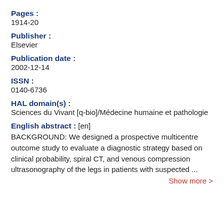Pages :
1914-20
Publisher :
Elsevier
Publication date :
2002-12-14
ISSN :
0140-6736
HAL domain(s) :
Sciences du Vivant [q-bio]/Médecine humaine et pathologie
English abstract : [en]
BACKGROUND: We designed a prospective multicentre outcome study to evaluate a diagnostic strategy based on clinical probability, spiral CT, and venous compression ultrasonography of the legs in patients with suspected ...
Show more >